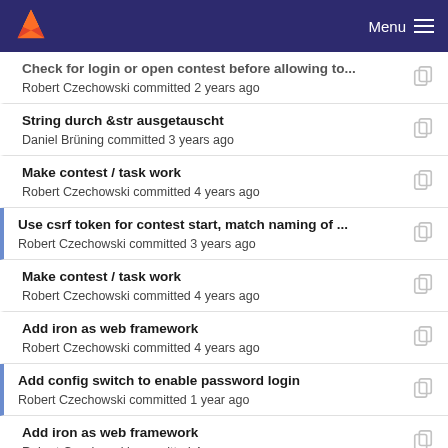Menu
Check for login or open contest before allowing to...
Robert Czechowski committed 2 years ago
String durch &str ausgetauscht
Daniel Brüning committed 3 years ago
Make contest / task work
Robert Czechowski committed 4 years ago
Use csrf token for contest start, match naming of ...
Robert Czechowski committed 3 years ago
Make contest / task work
Robert Czechowski committed 4 years ago
Add iron as web framework
Robert Czechowski committed 4 years ago
Add config switch to enable password login
Robert Czechowski committed 1 year ago
Add iron as web framework
Robert Czechowski committed 4 years ago